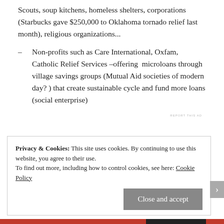Scouts, soup kitchens, homeless shelters, corporations (Starbucks gave $250,000 to Oklahoma tornado relief last month), religious organizations...
– Non-profits such as Care International, Oxfam, Catholic Relief Services –offering microloans through village savings groups (Mutual Aid societies of modern day? ) that create sustainable cycle and fund more loans (social enterprise)
REPORT THIS AD
Privacy & Cookies: This site uses cookies. By continuing to use this website, you agree to their use.
To find out more, including how to control cookies, see here: Cookie Policy
Close and accept